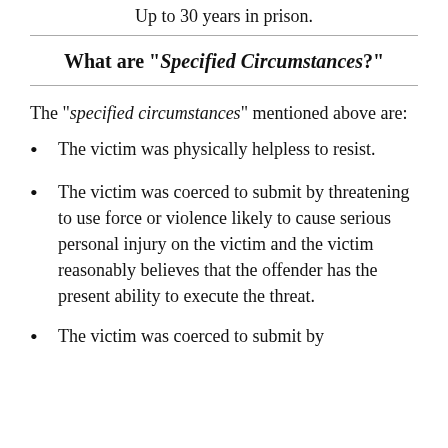Up to 30 years in prison.
What are "Specified Circumstances?"
The "specified circumstances" mentioned above are:
The victim was physically helpless to resist.
The victim was coerced to submit by threatening to use force or violence likely to cause serious personal injury on the victim and the victim reasonably believes that the offender has the present ability to execute the threat.
The victim was coerced to submit by